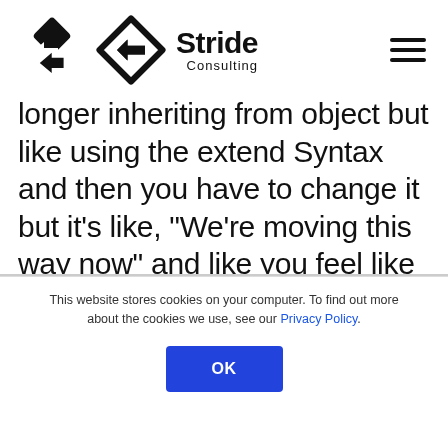[Figure (logo): Stride Consulting logo with diamond/arrow icon and text 'Stride Consulting']
longer inheriting from object but like using the extend Syntax and then you have to change it but it's like, “We’re moving this way now” and like you feel like you’re being pulled towards a direction that you maybe may not agree
This website stores cookies on your computer. To find out more about the cookies we use, see our Privacy Policy.
OK